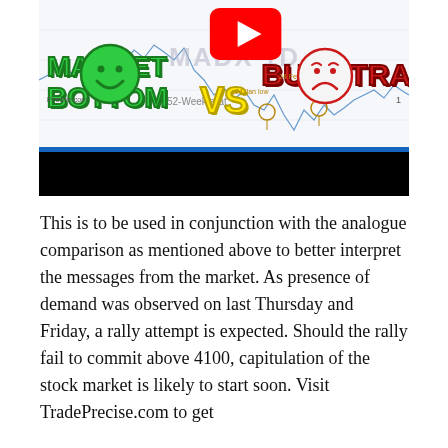[Figure (screenshot): YouTube video thumbnail showing a stock chart with 'MARKET BOTTOM vs BULL TRA[P]' title, happy and sad smiley faces, 24 Jan Low and 24 Feb Low annotations, and a black bar at the bottom.]
This is to be used in conjunction with the analogue comparison as mentioned above to better interpret the messages from the market. As presence of demand was observed on last Thursday and Friday, a rally attempt is expected. Should the rally fail to commit above 4100, capitulation of the stock market is likely to start soon. Visit TradePrecise.com to get